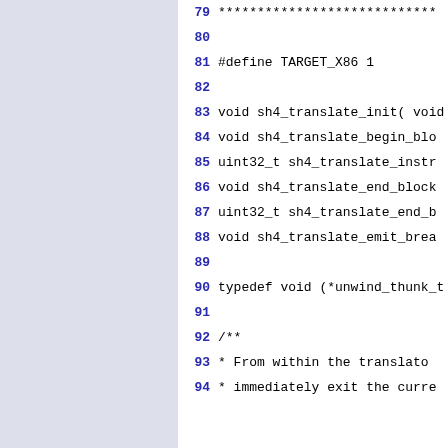Source code listing lines 79-94 showing C header file with #define TARGET_X86 1, function declarations for sh4_translate_init, sh4_translate_begin_block, sh4_translate_instru, sh4_translate_end_block, sh4_translate_end_bl, sh4_translate_emit_break, typedef void (*unwind_thunk_t, and a comment block starting with /** * From within the translator * immediately exit the curre